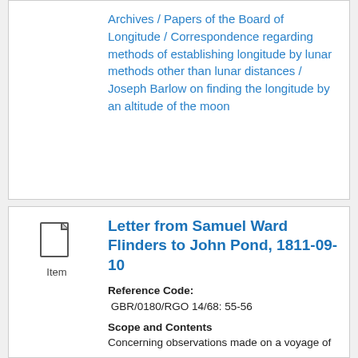Archives / Papers of the Board of Longitude / Correspondence regarding methods of establishing longitude by lunar methods other than lunar distances / Joseph Barlow on finding the longitude by an altitude of the moon
[Figure (illustration): Document/item icon showing a page with folded corner]
Item
Letter from Samuel Ward Flinders to John Pond, 1811-09-10
Reference Code: GBR/0180/RGO 14/68: 55-56
Scope and Contents
Concerning observations made on a voyage of